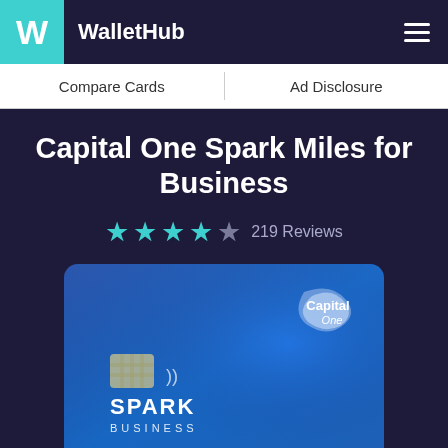WalletHub
Compare Cards | Ad Disclosure
Capital One Spark Miles for Business
★★★★☆ 219 Reviews
[Figure (photo): Capital One Spark Miles for Business credit card image showing a blue card with chip, Capital One logo, and SPARK BUSINESS text]
50,000 Mi...